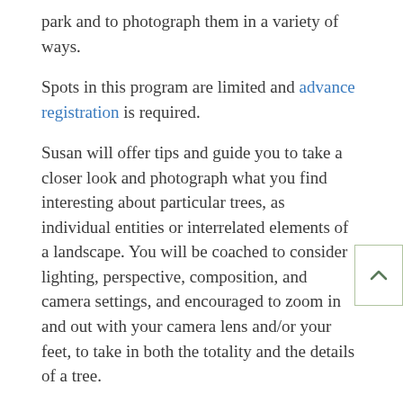park and to photograph them in a variety of ways.
Spots in this program are limited and advance registration is required.
Susan will offer tips and guide you to take a closer look and photograph what you find interesting about particular trees, as individual entities or interrelated elements of a landscape. You will be coached to consider lighting, perspective, composition, and camera settings, and encouraged to zoom in and out with your camera lens and/or your feet, to take in both the totality and the details of a tree.
Slow down, lean in, and let go of what you